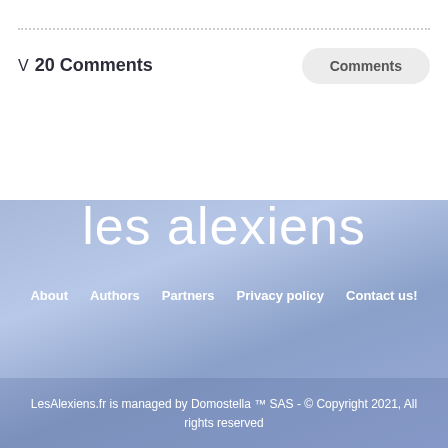V 20 Comments
Comments
[Figure (logo): les alexiens website logo in white text on gradient blue/purple background]
About   Authors   Partners   Privacy policy   Contact us!
LesAlexiens.fr is managed by Domostella ™ SAS - © Copyright 2021, All rights reserved